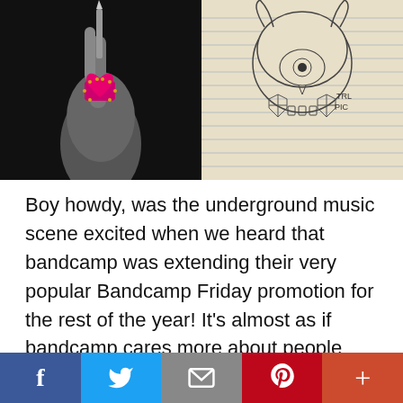[Figure (photo): Left half: black and white photo of a hand holding something with a pink jeweled heart ring. Right half: pencil drawing of a skull with horns, an eye, coffins, and decorative elements on lined paper.]
Boy howdy, was the underground music scene excited when we heard that bandcamp was extending their very popular Bandcamp Friday promotion for the rest of the year!  It's almost as if bandcamp cares more about people than the federal government of the United States...  But that's a whole other column.  In case
[Figure (infographic): Social sharing bar with five buttons: Facebook (blue, f), Twitter (light blue, bird), Email (gray, envelope), Pinterest (red, P), and a red-orange plus button.]